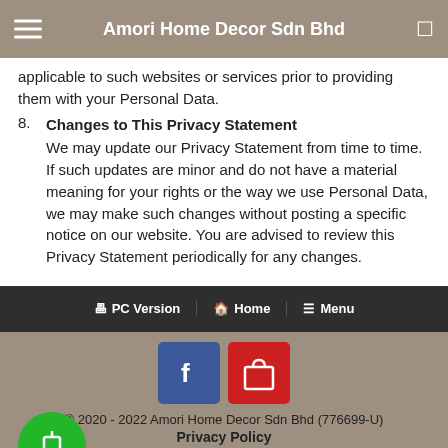Amori Home Decor Sdn Bhd
applicable to such websites or services prior to providing them with your Personal Data.
8. Changes to This Privacy Statement
We may update our Privacy Statement from time to time. If such updates are minor and do not have a material meaning for your rights or the way we use Personal Data, we may make such changes without posting a specific notice on our website. You are advised to review this Privacy Statement periodically for any changes.
PC Version  Home  Menu
© 2020 - 2022 Amori Home Decor Sdn Bhd (776699-U)
Privacy Policy
Powered by NEWPAGES
Visitors: 85796